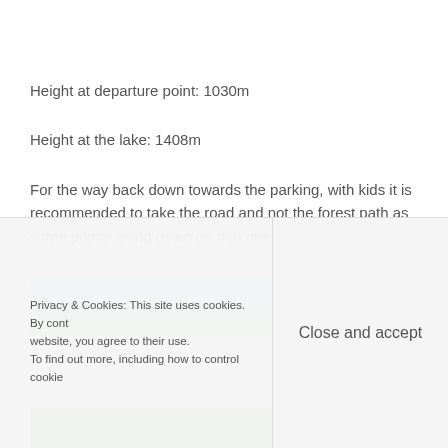Height at departure point: 1030m
Height at the lake: 1408m
For the way back down towards the parking, with kids it is recommended to take the road and not the forest path as some points going down on that one can be tricky.
[Figure (photo): Two outdoor photos showing blue sky and landscape, partially visible]
[Figure (photo): Bottom row of outdoor photos showing green grass and nature]
Privacy & Cookies: This site uses cookies. By cont[inuing to use this] website, you agree to their use. To find out more, including how to control cookie[s...]
Close and accept